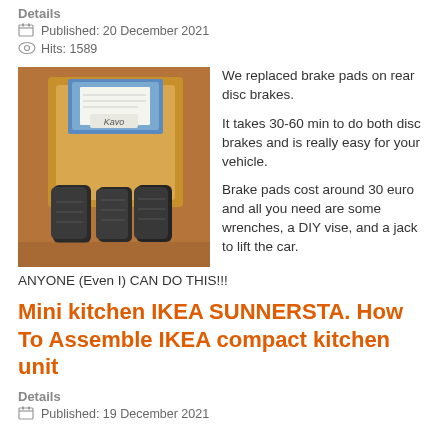Details
Published: 20 December 2021
Hits: 1589
[Figure (photo): Photo of brake pads in a cardboard box labeled Kavo, placed on a wooden surface]
We replaced brake pads on rear disc brakes.

It takes 30-60 min to do both disc brakes and is really easy for your vehicle.

Brake pads cost around 30 euro and all you need are some wrenches, a DIY vise, and a jack to lift the car.
ANYONE (Even I) CAN DO THIS!!!
Mini kitchen IKEA SUNNERSTA. How To Assemble IKEA compact kitchen unit
Details
Published: 19 December 2021